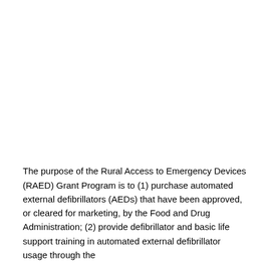The purpose of the Rural Access to Emergency Devices (RAED) Grant Program is to (1) purchase automated external defibrillators (AEDs) that have been approved, or cleared for marketing, by the Food and Drug Administration; (2) provide defibrillator and basic life support training in automated external defibrillator usage through the